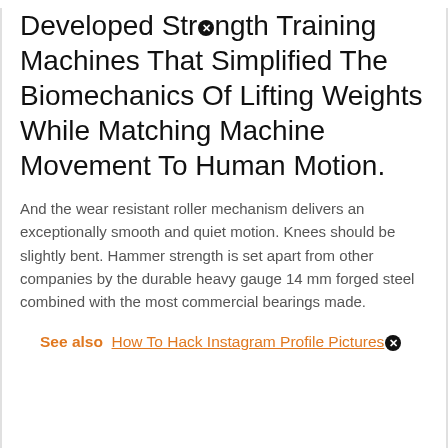Developed Strength Training Machines That Simplified The Biomechanics Of Lifting Weights While Matching Machine Movement To Human Motion.
And the wear resistant roller mechanism delivers an exceptionally smooth and quiet motion. Knees should be slightly bent. Hammer strength is set apart from other companies by the durable heavy gauge 14 mm forged steel combined with the most commercial bearings made.
See also  How To Hack Instagram Profile Pictures